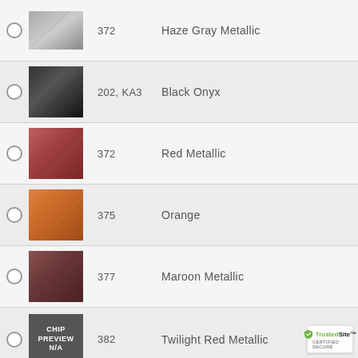202, KA3 — Black Onyx
372 — Red Metallic
375 — Orange
377 — Maroon Metallic
382 — Twilight Red Metallic